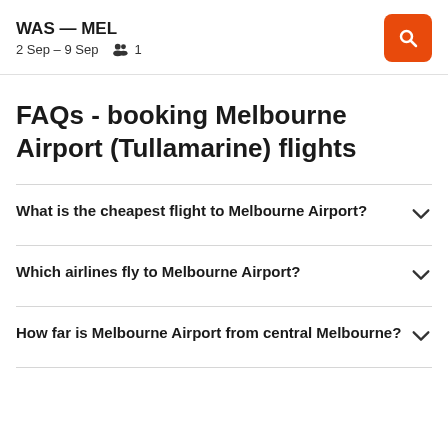WAS — MEL
2 Sep – 9 Sep  1
FAQs - booking Melbourne Airport (Tullamarine) flights
What is the cheapest flight to Melbourne Airport?
Which airlines fly to Melbourne Airport?
How far is Melbourne Airport from central Melbourne?